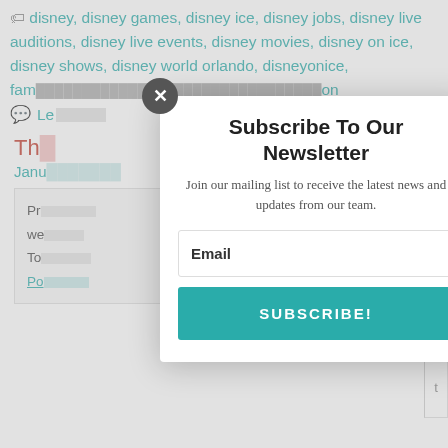disney, disney games, disney ice, disney jobs, disney live auditions, disney live events, disney movies, disney on ice, disney shows, disney world orlando, disneyonice, fam… on
Le…
Subscribe To Our Newsletter
Join our mailing list to receive the latest news and updates from our team.
Email
SUBSCRIBE!
Th…
Janu…
Pr… we… To… Po…